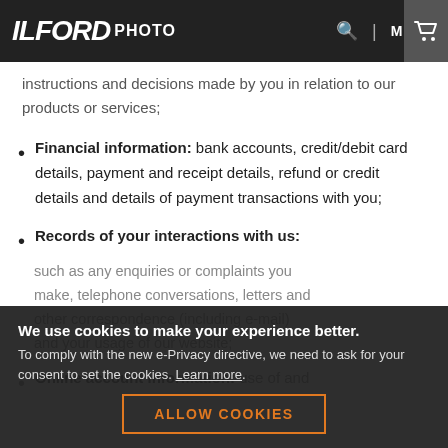ILFORD PHOTO
instructions and decisions made by you in relation to our products or services;
Financial information: bank accounts, credit/debit card details, payment and receipt details, refund or credit details and details of payment transactions with you;
Records of your interactions with us: such as any enquiries or complaints you make, telephone conversations, letters and other correspondence (including e-mail) and your usage of our website;
Online account information: use of and
We use cookies to make your experience better. To comply with the new e-Privacy directive, we need to ask for your consent to set the cookies. Learn more.
ALLOW COOKIES